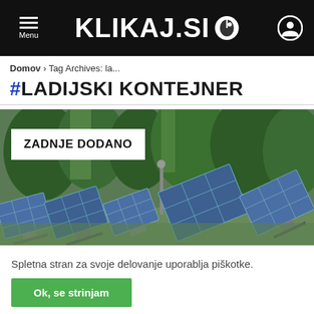Menu | KLIKAJ.SI
Domov › Tag Archives: la...
#LADIJSKI KONTEJNER
[Figure (photo): Photo of solar panels in a green outdoor setting with trees in background, with a white box overlay reading ZADNJE DODANO]
Spletna stran za svoje delovanje uporablja piškotke.
Ok, se strinjam